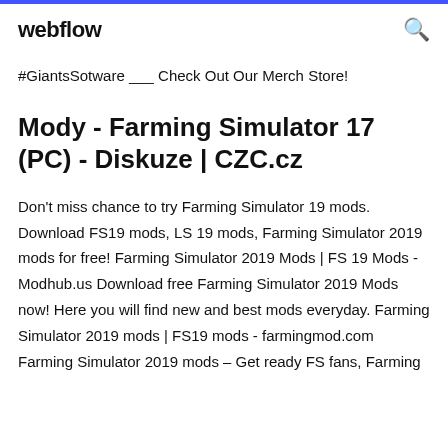webflow
#GiantsSotware ___ Check Out Our Merch Store!
Mody - Farming Simulator 17 (PC) - Diskuze | CZC.cz
Don't miss chance to try Farming Simulator 19 mods. Download FS19 mods, LS 19 mods, Farming Simulator 2019 mods for free! Farming Simulator 2019 Mods | FS 19 Mods - Modhub.us Download free Farming Simulator 2019 Mods now! Here you will find new and best mods everyday. Farming Simulator 2019 mods | FS19 mods - farmingmod.com Farming Simulator 2019 mods – Get ready FS fans, Farming